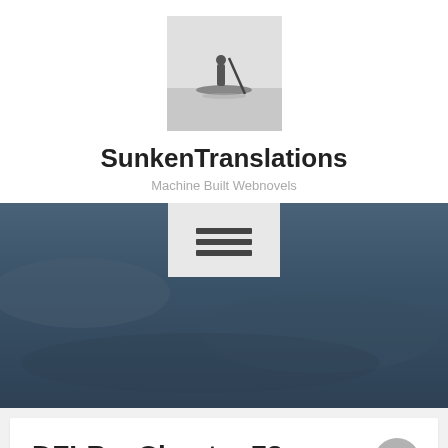[Figure (photo): Small black and white photo of a person in a boat, used as site logo for SunkenTranslations]
SunkenTranslations
Machine Built Webnovels
[Figure (screenshot): Dark blue-grey hero/banner image with a hamburger menu toggle button overlaid at top center]
DFLB – Chapter 73
January 6, 2021  Sunken Ship  4 Comments